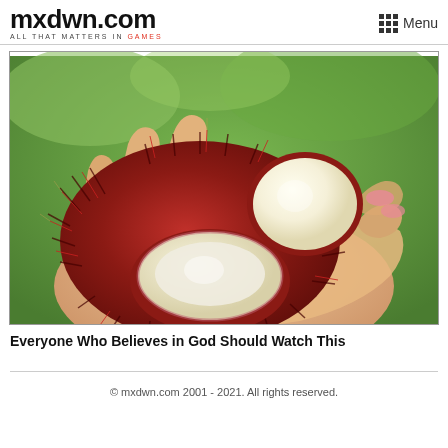mxdwn.com ALL THAT MATTERS IN GAMES | Menu
[Figure (photo): A hand holding rambutan fruits, one opened to show the white interior flesh, with spiky red exterior, against a green background.]
Everyone Who Believes in God Should Watch This
© mxdwn.com 2001 - 2021. All rights reserved.